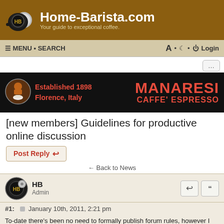Home-Barista.com — Your guide to exceptional coffee
[Figure (screenshot): Manaresi Caffe Espresso advertisement banner — black background, red text: Established 1898, Florence, Italy, MANARESI CAFFE' ESPRESSO]
[new members] Guidelines for productive online discussion
Post Reply
← Back to News
HB
Admin
#1:  January 10th, 2011, 2:21 pm
To-date there's been no need to formally publish forum rules, however I would like to share Team HB's guidelines for fruitful online discussion:
Be respectful. Treat others as you would have them treat you.